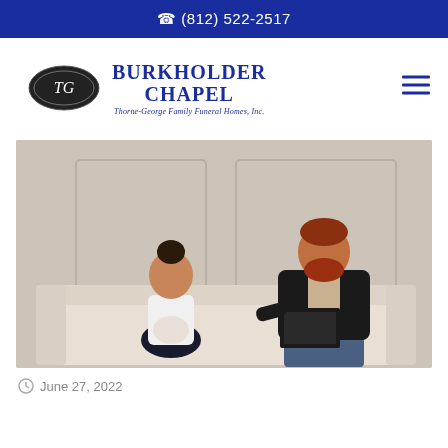(812) 522-2517
[Figure (logo): Burkholder Chapel logo: dark oval with TG monogram, brand name BURKHOLDER CHAPEL, subtitle Thorne-George Family Funeral Homes, Inc.]
[Figure (photo): A man with red beard sitting on a couch talking to a young girl with a bun hairstyle, who is holding a stuffed animal. The man is holding a clipboard/folder. They appear to be in a counseling or consultation setting.]
June 27, 2022